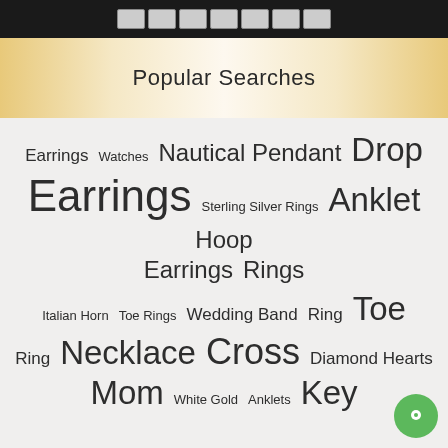[payment icons: CC, Amex, Discover, Mastercard, PayPal, Script, Visa]
Popular Searches
Earrings  Watches  Nautical Pendant  Drop  Earrings  Sterling Silver Rings  Anklet  Hoop  Earrings  Rings  Italian Horn  Toe Rings  Wedding Band  Ring  Toe  Ring  Necklace  Cross  Diamond Hearts  Mom  White Gold  Anklets  Key